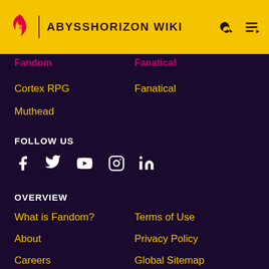ABYSSHORIZON WIKI
Fandom | Fanatical
Cortex RPG
Fanatical
Muthead
FOLLOW US
[Figure (infographic): Social media icons: Facebook, Twitter, YouTube, Instagram, LinkedIn]
OVERVIEW
What is Fandom?
Terms of Use
About
Privacy Policy
Careers
Global Sitemap
Press
Local Sitemap